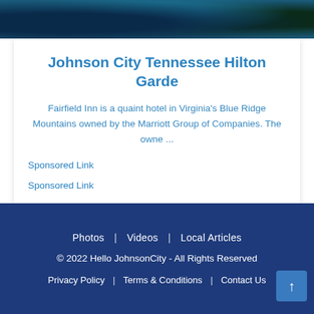[Figure (photo): Hotel exterior photo showing tropical/evening setting with blue tones and green foliage]
Johnson City Tennessee Hilton Garde
Fairfield Inn is a quaint hotel in Virginia's Blue Ridge Mountains owned by the Marriott Group of Companies. The owne ...
Sponsored Link
Sponsored Link
[Figure (map): Map background showing local area roads and geography]
Photos | Videos | Local Articles
© 2022 Hello JohnsonCity - All Rights Reserved
Privacy Policy | Terms & Conditions | Contact Us